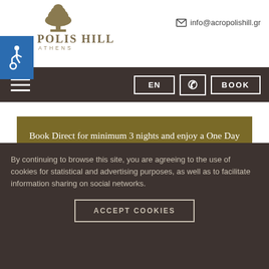[Figure (logo): Acropolis Hill Athens hotel logo with stylized tree icon and hotel name text]
info@acropolishill.gr
[Figure (infographic): Navigation bar with hamburger menu, EN language button, phone button, and BOOK button on dark brown background]
Book Direct for minimum 3 nights and enjoy a One Day Cruise around the Saronic Islands: Hydra, Poros and Aegina! Special payment conditions apply.
By continuing to browse this site, you are agreeing to the use of cookies for statistical and advertising purposes, as well as to facilitate information sharing on social networks.
ACCEPT COOKIES